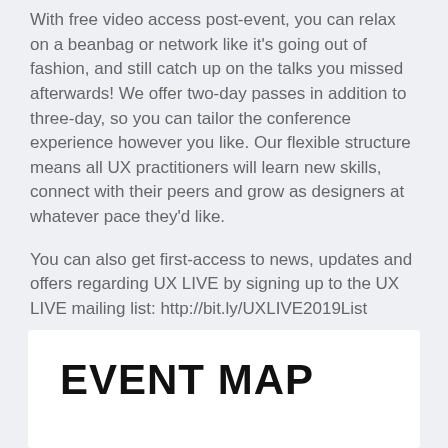With free video access post-event, you can relax on a beanbag or network like it's going out of fashion, and still catch up on the talks you missed afterwards! We offer two-day passes in addition to three-day, so you can tailor the conference experience however you like. Our flexible structure means all UX practitioners will learn new skills, connect with their peers and grow as designers at whatever pace they'd like.
You can also get first-access to news, updates and offers regarding UX LIVE by signing up to the UX LIVE mailing list: http://bit.ly/UXLIVE2019List
Check out highlights from last year's event on the website, and get involved! https://uxliveconference.com
EVENT MAP